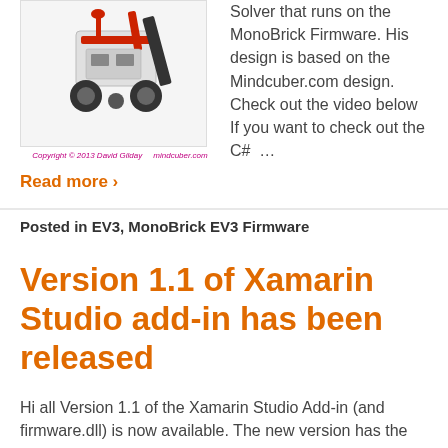[Figure (photo): A LEGO EV3 robot (Mindcuber Rubik's cube solver) photographed on white background. Red and black components visible with wheels and mechanical arm.]
Copyright © 2013 David Gilday    mindcuber.com
Solver that runs on the MonoBrick Firmware. His design is based on the Mindcuber.com design. Check out the video below If you want to check out the C# …
Read more ›
Posted in EV3, MonoBrick EV3 Firmware
Version 1.1 of Xamarin Studio add-in has been released
Hi all Version 1.1 of the Xamarin Studio Add-in (and firmware.dll) is now available. The new version has the following highlights New LCD functions like DrawCircle,